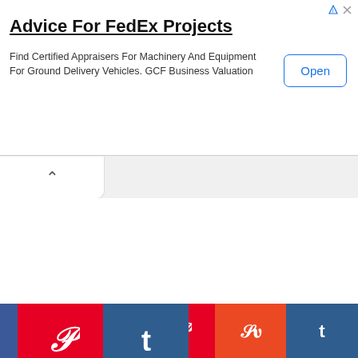[Figure (screenshot): Advertisement banner: 'Advice For FedEx Projects' with subtitle 'Find Certified Appraisers For Machinery And Equipment For Ground Delivery Vehicles. GCF Business Valuation' and an 'Open' button.]
[Figure (illustration): Abstract expressionist painting/artwork of a face with brushstrokes, lines, and bold colors including red, white, grey, and black. Pinterest and Tumblr social share buttons overlay the top-left.]
[Figure (infographic): Bottom social sharing bar with Facebook (dark blue), Twitter (light blue), Pinterest (red), StumbleUpon (orange-red), and Tumblr (dark blue) buttons.]